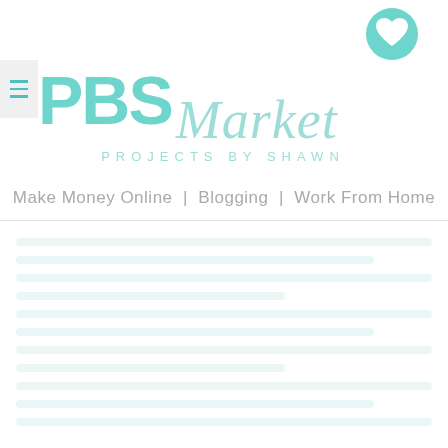[Figure (logo): PBS Market logo with teal/mint colored bold PBS letters, cursive Market text, heart circle icon, and subtitle PROJECTS BY SHAWN]
Make Money Online | Blogging | Work From Home